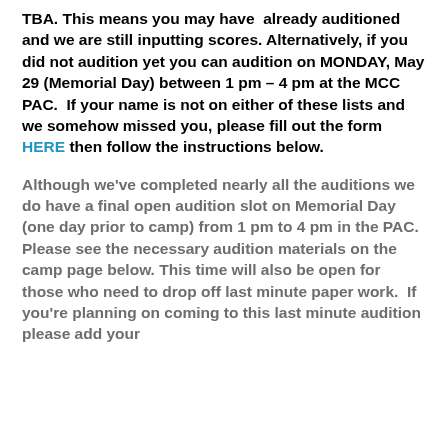TBA. This means you may have already auditioned and we are still inputting scores. Alternatively, if you did not audition yet you can audition on MONDAY, May 29 (Memorial Day) between 1 pm – 4 pm at the MCC PAC. If your name is not on either of these lists and we somehow missed you, please fill out the form HERE then follow the instructions below.
Although we've completed nearly all the auditions we do have a final open audition slot on Memorial Day (one day prior to camp) from 1 pm to 4 pm in the PAC. Please see the necessary audition materials on the camp page below. This time will also be open for those who need to drop off last minute paper work. If you're planning on coming to this last minute audition please add your